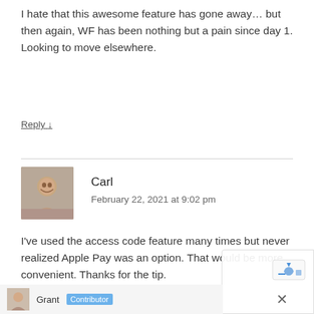I hate that this awesome feature has gone away… but then again, WF has been nothing but a pain since day 1. Looking to move elsewhere.
Reply ↓
Carl
February 22, 2021 at 9:02 pm
I've used the access code feature many times but never realized Apple Pay was an option. That would be more convenient. Thanks for the tip.
Reply ↓